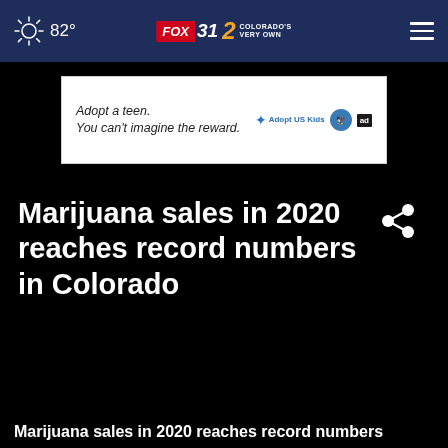82° FOX 31 2 COLORADO'S VERY OWN
[Figure (other): Advertisement banner: 'Adopt a teen. You can't imagine the reward.' with Adopt US Kids and HHS logos]
Marijuana sales in 2020 reaches record numbers in Colorado
[Figure (other): Video player area (black)]
Marijuana sales in 2020 reaches record numbers